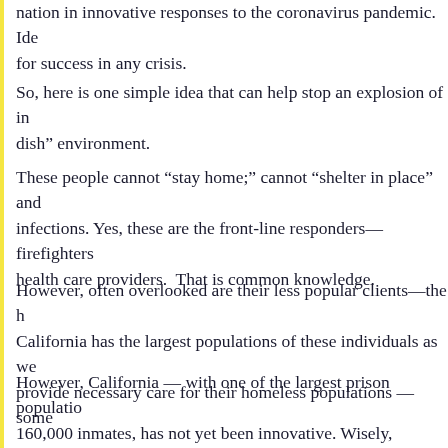nation in innovative responses to the coronavirus pandemic. Ide for success in any crisis.
So, here is one simple idea that can help stop an explosion of in dish” environment.
These people cannot “stay home;” cannot “shelter in place” and infections. Yes, these are the front-line responders—firefighters health care providers.  That is common knowledge.
However, often overlooked are their less popular clients—the h California has the largest populations of these individuals as we provide necessary care for their homeless populations — some
However, California — with one of the largest prison populatio 160,000 inmates, has not yet been innovative. Wisely, Governor visitations in those prisons, even as prisoners in Italy have riote leaving 12 fatalities.